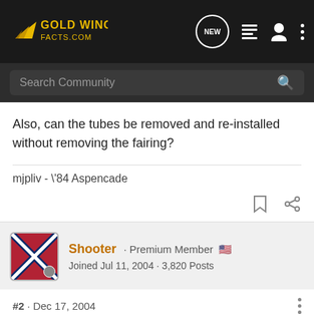GoldWingFacts.com — Search Community
Also, can the tubes be removed and re-installed without removing the fairing?
mjpliv - \'84 Aspencade
Shooter · Premium Member  Joined Jul 11, 2004 · 3,820 Posts
#2 · Dec 17, 2004
imported post